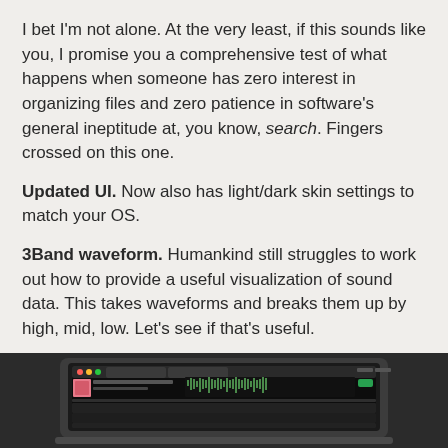I bet I'm not alone. At the very least, if this sounds like you, I promise you a comprehensive test of what happens when someone has zero interest in organizing files and zero patience in software's general ineptitude at, you know, search. Fingers crossed on this one.
Updated UI. Now also has light/dark skin settings to match your OS.
3Band waveform. Humankind still struggles to work out how to provide a useful visualization of sound data. This takes waveforms and breaks them up by high, mid, low. Let's see if that's useful.
Filter by Attribute in Collection and playlists – handy.
[Figure (screenshot): Screenshot of a music software application showing a dark-themed interface with waveform display on a laptop screen]